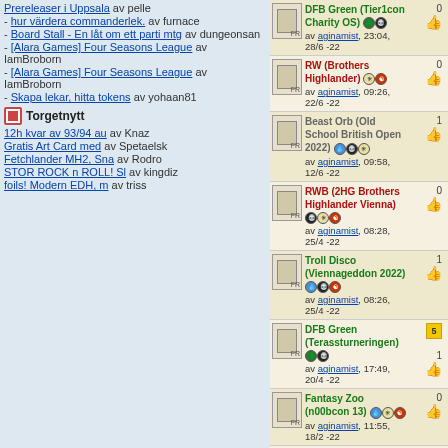Prereleaser i Uppsala av pelle
- hur värdera commanderlek. av furnace
- Board Stall - En låt om ett parti mtg av dungeonsan
- [Alara Games] Four Seasons League av IamBroborn
- [Alara Games] Four Seasons League av IamBroborn
- Skapa lekar, hitta tokens av yohaan81
Torgetnytt
12h kvar av 93/94 au av Knaz
Gratis Art Card med av Spetaelsk
Fetchlander MH2, Sna av Rodro
STOR ROCK n ROLL! Sl av kingdiz
foils! Modern EDH, m av triss
DFB Green (Tier1con Charity OS) - av aginamist, 23:04, 28/6 -22 - 0 votes
RW (Brothers Highlander) - av aginamist, 09:26, 22/6 -22 - 0 votes
Beast Orb (Old School British Open 2022) - av aginamist, 09:58, 12/6 -22 - 1 vote
RWB (2HG Brothers Highlander Vienna) - av aginamist, 08:28, 25/4 -22 - 0 votes
Troll Disco (Viennageddon 2022) - av aginamist, 08:26, 25/4 -22 - 1 vote
DFB Green (Terassturneringen) - av aginamist, 17:49, 20/4 -22 - 1 vote, 5 stars
Fantasy Zoo (n00bcon 13) - av aginamist, 11:55, 18/2 -22 - 0 votes
UR Counterburn (Siab00rg 2022) - av aginamist, 11:55, 18/2 -22 - 0 votes
Fantasy Zoo (Paladins of the North Cup) - av aginamist, 11:54, 18/2 -22 - 0 votes
White Weenie (Friday Brawl Groningen) - av aginamist, 11:54, 18/2 -22 - 0 votes
Living Plane (X-Files Invitational #5) - av aginamist, 11:53, 18/2 -22 - 0 votes
Arabian Aggro (Aprika Festival VII) - av aginamist (partial)